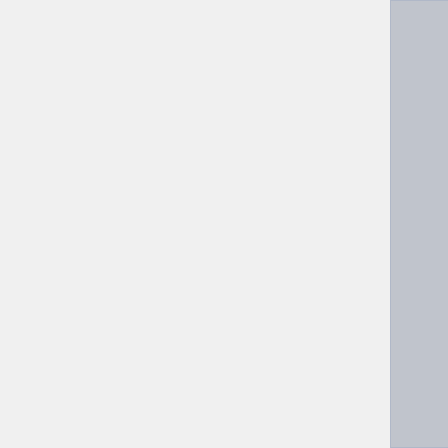[Figure (other): Stargate Infinity show image placeholder (gray box)]
Season 1
06. "Hot V..."
07. "Phob..."
08. "Can ..."
09. "Who ..."
10. "Gree..."
11. "Ston..."
12. "Initia..."
13. "The ... Invention"
14. "Reali..."
15. "Muse..."
16. "Us a..."
17. "The ... Evil" • 18.
19. "Char... Sun" • 20. Answer" • Look" • 22. Clay" • 23. Natural" • Mistake" • Illustrated
26. "The ..."